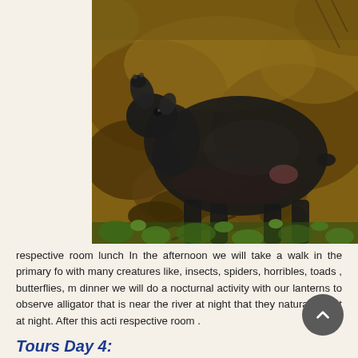[Figure (photo): A dark-colored tapir-like animal standing on muddy, churned soil with some green vegetation visible at the bottom. The animal's snout is raised upward. Background shows reddish-brown earth and soil bank.]
respective room lunch In the afternoon we will take a walk in the primary fo with many creatures like, insects, spiders, horribles, toads , butterflies, m dinner we will do a nocturnal activity with our lanterns to observe alligator that is near the river at night that they naturally hunt at night. After this acti respective room .
Tours Day 4: